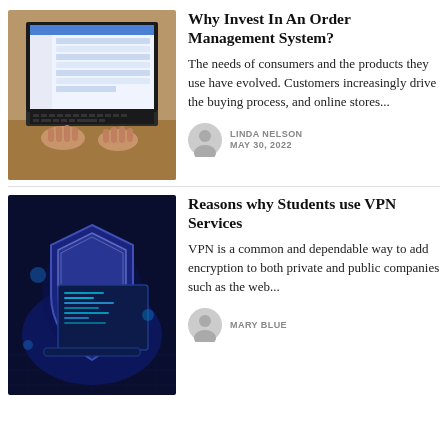[Figure (photo): Person typing on a laptop with a software dashboard visible on the screen, viewed from an angle on a wooden desk.]
Why Invest In An Order Management System?
The needs of consumers and the products they use have evolved. Customers increasingly drive the buying process, and online stores...
LINDA NELSON
MAY 30, 2022
[Figure (photo): Digital security concept showing a shield and a laptop with code on the screen against a blue background.]
Reasons why Students use VPN Services
VPN is a common and dependable way to add encryption to both private and public companies such as the web...
MARY BLUE